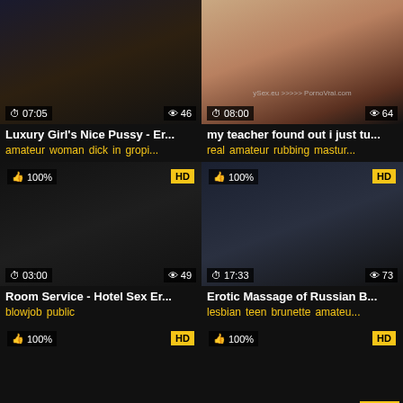[Figure (screenshot): Video thumbnail grid showing adult video thumbnails with titles, tags, duration and view counts]
Luxury Girl's Nice Pussy - Er...
amateur woman dick in gropi...
my teacher found out i just tu...
real amateur rubbing mastur...
Room Service - Hotel Sex Er...
blowjob public
Erotic Massage of Russian B...
lesbian teen brunette amateu...
Grind Your Cunt On Daddy's...
Uncensored Japanese Erotic...